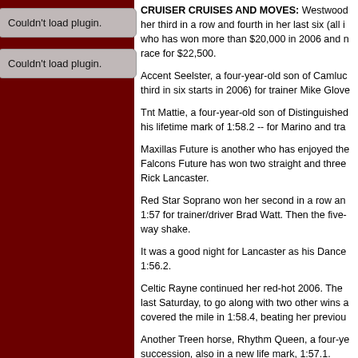[Figure (other): Plugin placeholder box 1 - grey rounded rectangle with text 'Couldn't load plugin.']
[Figure (other): Plugin placeholder box 2 - grey rounded rectangle with text 'Couldn't load plugin.']
CRUISER CRUISES AND MOVES: Westwood her third in a row and fourth in her last six (all i who has won more than $20,000 in 2006 and n race for $22,500.
Accent Seelster, a four-year-old son of Camluc third in six starts in 2006) for trainer Mike Glove
Tnt Mattie, a four-year-old son of Distinguished his lifetime mark of 1:58.2 -- for Marino and tra
Maxillas Future is another who has enjoyed the Falcons Future has won two straight and three Rick Lancaster.
Red Star Soprano won her second in a row an 1:57 for trainer/driver Brad Watt. Then the five- way shake.
It was a good night for Lancaster as his Dance 1:56.2.
Celtic Rayne continued her red-hot 2006. The last Saturday, to go along with two other wins a covered the mile in 1:58.4, beating her previou
Another Treen horse, Rhythm Queen, a four-ye succession, also in a new life mark, 1:57.1.
Rayne and Queen were among seven life mark
The others were: Rocketdoodledoo (1:56), You Blue Chip (1:59, four seconds lower) and Tahu